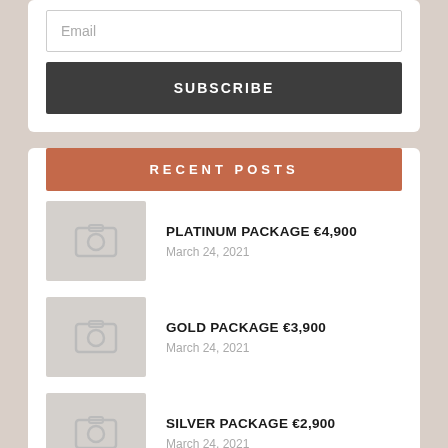Email
SUBSCRIBE
RECENT POSTS
PLATINUM PACKAGE €4,900
March 24, 2021
GOLD PACKAGE €3,900
March 24, 2021
SILVER PACKAGE €2,900
March 24, 2021